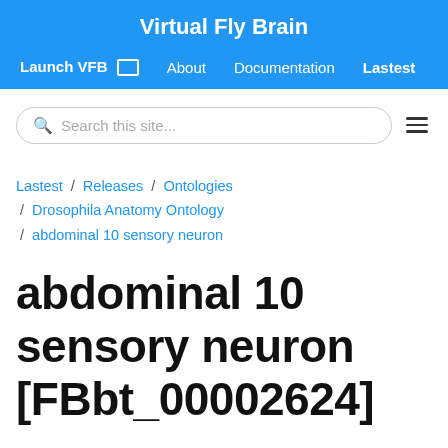Virtual Fly Brain
Launch VFB   About   Documentation   Lastest
Search this site...
Lastest / Releases / Ontologies / Drosophila Anatomy Ontology / abdominal 10 sensory neuron
abdominal 10 sensory neuron [FBbt_00002624]